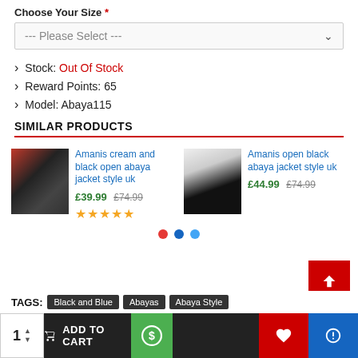Choose Your Size *
--- Please Select ---
Stock: Out Of Stock
Reward Points: 65
Model: Abaya115
SIMILAR PRODUCTS
[Figure (photo): Product image: Amanis cream and black open abaya jacket style uk]
Amanis cream and black open abaya jacket style uk
£39.99 £74.99
★★★★★
[Figure (photo): Product image: Amanis open black abaya jacket style uk]
Amanis open black abaya jacket style uk
£44.99 £74.99
TAGS: Black and Blue   Abayas   Abaya Style
1  ADD TO CART